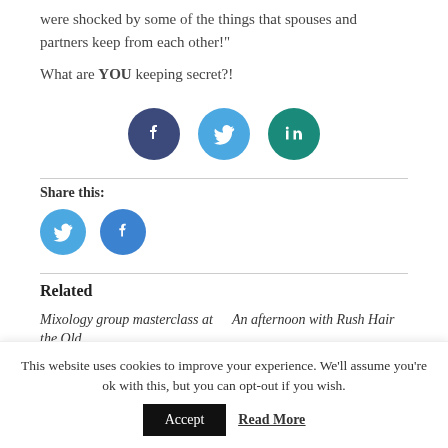were shocked by some of the things that spouses and partners keep from each other!"
What are YOU keeping secret?!
[Figure (infographic): Three social media icon circles: Facebook (dark blue), Twitter (light blue), LinkedIn (teal)]
Share this:
[Figure (infographic): Two small social media icon circles: Twitter (light blue), Facebook (blue)]
Related
Mixology group masterclass at the Old
An afternoon with Rush Hair
This website uses cookies to improve your experience. We'll assume you're ok with this, but you can opt-out if you wish.
Accept   Read More